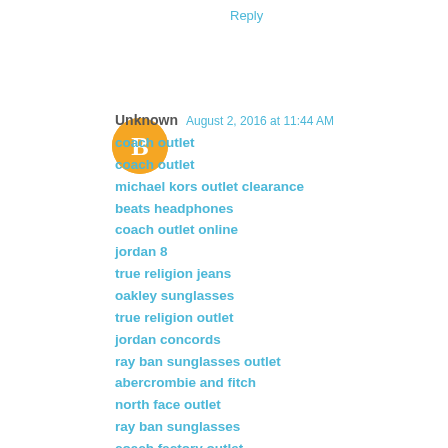Reply
[Figure (illustration): Blogger avatar icon — orange circle with white 'B' letter logo]
Unknown   August 2, 2016 at 11:44 AM
coach outlet
coach outlet
michael kors outlet clearance
beats headphones
coach outlet online
jordan 8
true religion jeans
oakley sunglasses
true religion outlet
jordan concords
ray ban sunglasses outlet
abercrombie and fitch
north face outlet
ray ban sunglasses
coach factory outlet
louis vuitton outlet
michael kors purses
oakley vault
hermes birkin bag
jordan 4 toro
cheap rolex watches
adidas outlet